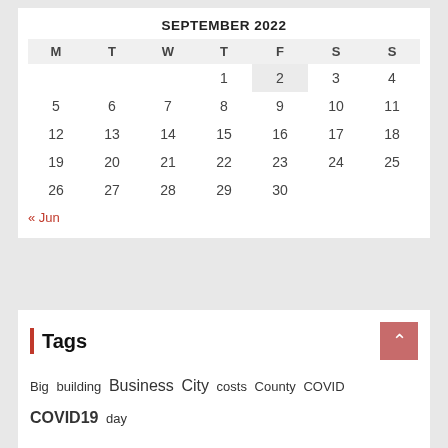SEPTEMBER 2022
| M | T | W | T | F | S | S |
| --- | --- | --- | --- | --- | --- | --- |
|  |  |  | 1 | 2 | 3 | 4 |
| 5 | 6 | 7 | 8 | 9 | 10 | 11 |
| 12 | 13 | 14 | 15 | 16 | 17 | 18 |
| 19 | 20 | 21 | 22 | 23 | 24 | 25 |
| 26 | 27 | 28 | 29 | 30 |  |  |
« Jun
Tags
Big building Business City costs County COVID COVID19 day Depot design DIY Fall Hardware home house